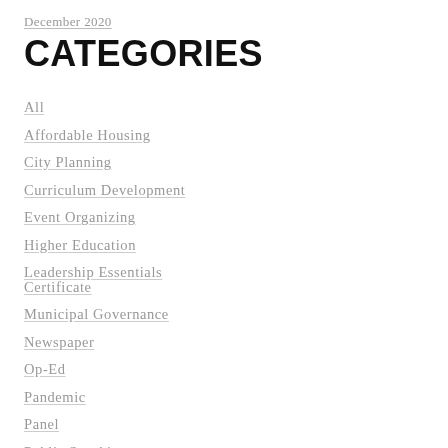December 2020
CATEGORIES
All
Affordable Housing
City Planning
Curriculum Development
Event Organizing
Higher Education
Leadership Essentials Certificate
Municipal Governance
Newspaper
Op-Ed
Pandemic
Panel
Public Speaking
Queer Spaces